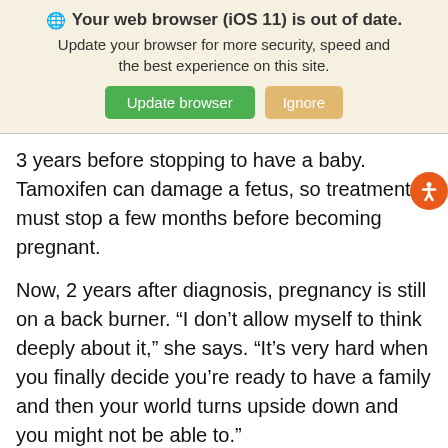[Figure (screenshot): Browser update banner with globe icon, title 'Your web browser (iOS 11) is out of date.', subtitle text, and two buttons: 'Update browser' (green) and 'Ignore' (tan/gold)]
3 years before stopping to have a baby. Tamoxifen can damage a fetus, so treatment must stop a few months before becoming pregnant.
Now, 2 years after diagnosis, pregnancy is still on a back burner. “I don’t allow myself to think deeply about it,” she says. “It’s very hard when you finally decide you’re ready to have a family and then your world turns upside down and you might not be able to.”
She says it’s a “huge relief” to have the six frozen embryos holding hope for parenthood to come. “I think it would have weighed a lot heavier on my